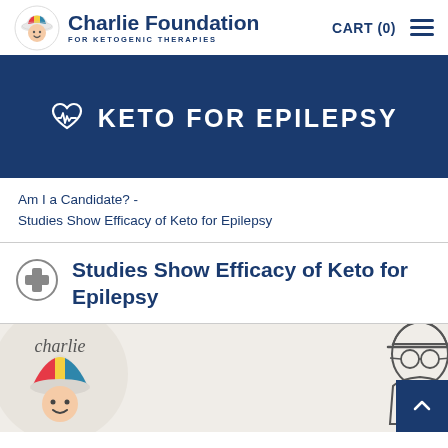[Figure (logo): Charlie Foundation for Ketogenic Therapies logo with cartoon child wearing colorful hat]
Charlie Foundation FOR KETOGENIC THERAPIES   CART (0)  ☰
❤ KETO FOR EPILEPSY
Am I a Candidate? - Studies Show Efficacy of Keto for Epilepsy
Studies Show Efficacy of Keto for Epilepsy
[Figure (illustration): Charlie Foundation circular logo and partial illustration of person wearing a cap at the bottom of the page]